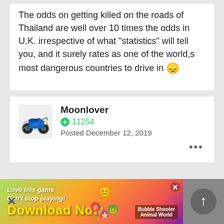The odds on getting killed on the roads of Thailand are well over 10 times the odds in U.K. irrespective of what "statistics" will tell you, and it surely rates as one of the world,s most dangerous countries to drive in 😞
Moonlover
+ 11254
Posted December 12, 2019
[Figure (illustration): Advertisement banner: 'Love this game Can't stop playing! Download Now' with colorful game graphics and Bubble Shooter Animal World label]